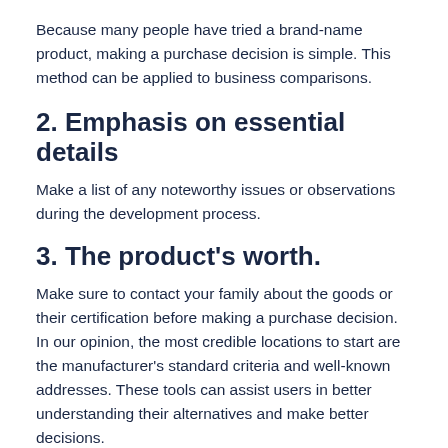Because many people have tried a brand-name product, making a purchase decision is simple. This method can be applied to business comparisons.
2. Emphasis on essential details
Make a list of any noteworthy issues or observations during the development process.
3. The product's worth.
Make sure to contact your family about the goods or their certification before making a purchase decision. In our opinion, the most credible locations to start are the manufacturer's standard criteria and well-known addresses. These tools can assist users in better understanding their alternatives and make better decisions.